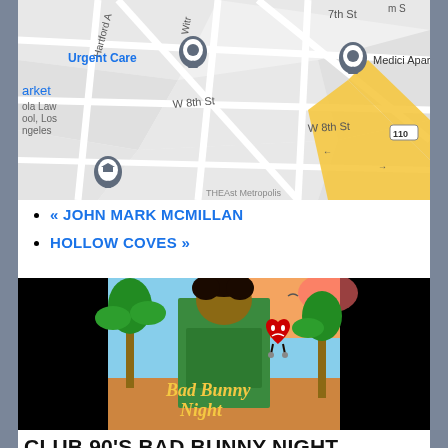[Figure (map): Google Maps view showing streets including 7th St, W 8th St, Hartford Ave, Witmer, highway 110. Map pins for Urgent Care, Medici Apartments, and a school. Yellow highway overlay.]
« JOHN MARK MCMILLAN
HOLLOW COVES »
[Figure (photo): Bad Bunny Night event promotional image. Man in colorful knit sweater with a cartoon sad red heart character. Tropical background with palm trees. Text reads 'Bad Bunny Night'. Black bars on sides.]
CLUB 90'S BAD BUNNY NIGHT